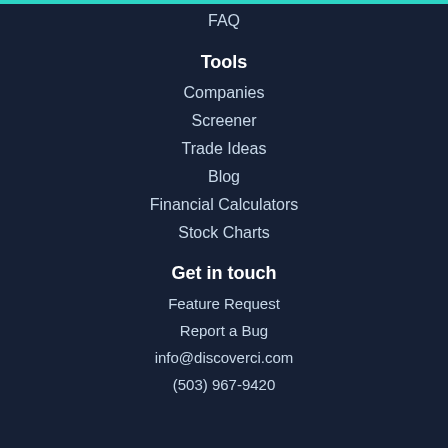FAQ
Tools
Companies
Screener
Trade Ideas
Blog
Financial Calculators
Stock Charts
Get in touch
Feature Request
Report a Bug
info@discoverci.com
(503) 967-9420